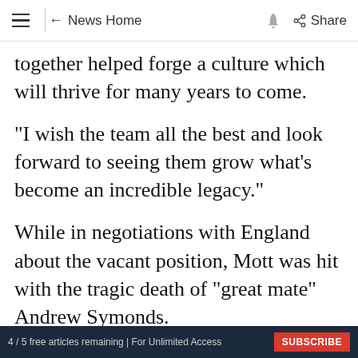≡ ← News Home 🔔 Share
together helped forge a culture which will thrive for many years to come.
"I wish the team all the best and look forward to seeing them grow what's become an incredible legacy."
While in negotiations with England about the vacant position, Mott was hit with the tragic death of "great mate" Andrew Symonds.
Ad
4 / 5 free articles remaining | For Unlimited Access SUBSCRIBE